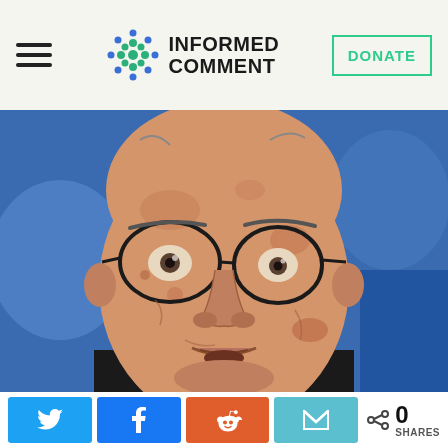[Figure (logo): Informed Comment website logo with decorative snowflake/dot icon and text 'INFORMED COMMENT']
[Figure (illustration): Stylized/illustrated portrait of an older bald man with glasses, wearing a dark suit, rendered in a comic or digital art style with flat colors and bold outlines, blue background]
Twitter share button, Facebook share button, Reddit share button, Email share button, 0 SHARES